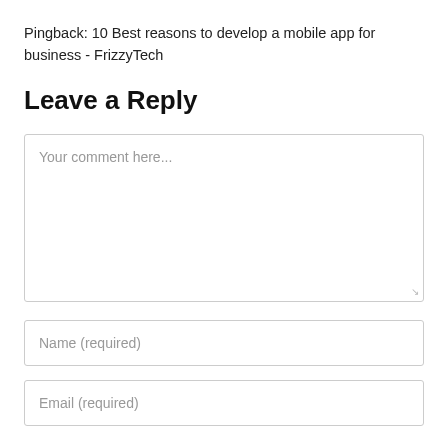Pingback: 10 Best reasons to develop a mobile app for business - FrizzyTech
Leave a Reply
[Figure (screenshot): Comment text area input field with placeholder text 'Your comment here...']
[Figure (screenshot): Name input field with placeholder text 'Name (required)']
[Figure (screenshot): Email input field with placeholder text 'Email (required)']